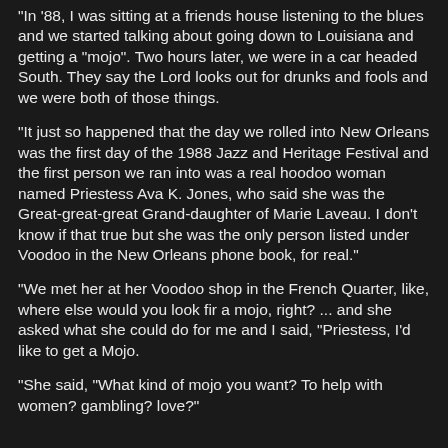"In '88, I was sitting at a friends house listening to the blues and we started talking about going down to Louisiana and getting a "mojo". Two hours later, we were in a car headed South. They say the Lord looks out for drunks and fools and we were both of those things.
"It just so happened that the day we rolled into New Orleans was the first day of the 1988 Jazz and Heritage Festival and the first person we ran into was a real hoodoo woman named Priestess Ava K. Jones, who said she was the Great-great-great Grand-daughter of Marie Laveau. I don't know if that true but she was the only person listed under Voodoo in the New Orleans phone book, for real."
"We met her at her Voodoo shop in the French Quarter, like, where else would you look fir a mojo, right? ... and she asked what she could do for me and I said, "Priestess, I'd like to get a Mojo.
"She said, "What kind of mojo you want? To help with women? gambling? love?"